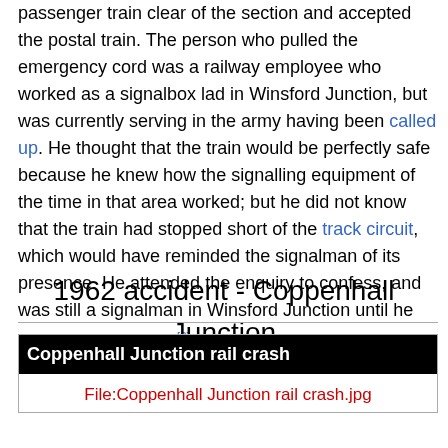passenger train clear of the section and accepted the postal train. The person who pulled the emergency cord was a railway employee who worked as a signalbox lad in Winsford Junction, but was currently serving in the army having been called up. He thought that the train would be perfectly safe because he knew how the signalling equipment of the time in that area worked; but he did not know that the train had stopped short of the track circuit, which would have reminded the signalman of its presence. He attended the enquiry to confess, and was still a signalman in Winsford Junction until he retired in the 1990s.[2]
1962 accident - Coppenhall Junction
| Coppenhall Junction rail crash |
| --- |
| File:Coppenhall Junction rail crash.jpg |